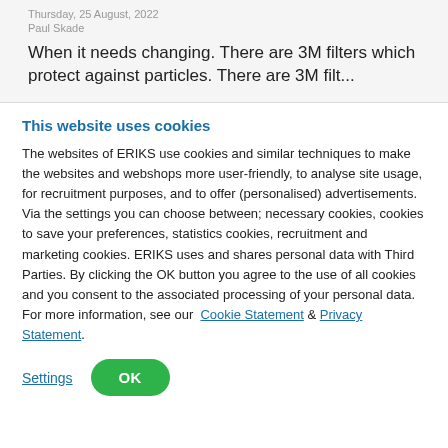Thursday, 25 August, 2022
Paul Skade
When it needs changing. There are 3M filters which protect against particles. There are 3M filt...
This website uses cookies
The websites of ERIKS use cookies and similar techniques to make the websites and webshops more user-friendly, to analyse site usage, for recruitment purposes, and to offer (personalised) advertisements. Via the settings you can choose between; necessary cookies, cookies to save your preferences, statistics cookies, recruitment and marketing cookies. ERIKS uses and shares personal data with Third Parties. By clicking the OK button you agree to the use of all cookies and you consent to the associated processing of your personal data. For more information, see our Cookie Statement & Privacy Statement.
Settings
OK